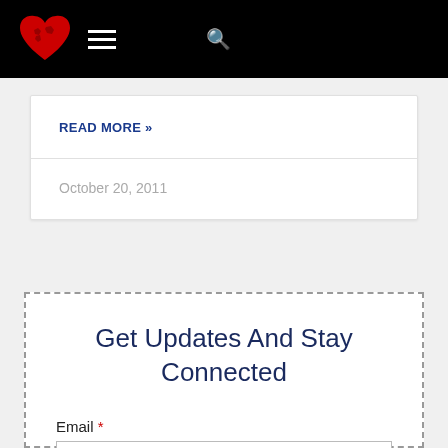Navigation bar with logo, menu, and search
READ MORE »
October 20, 2011
Get Updates And Stay Connected
Email *